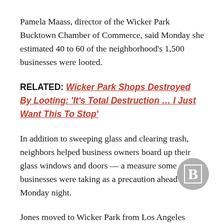Pamela Maass, director of the Wicker Park Bucktown Chamber of Commerce, said Monday she estimated 40 to 60 of the neighborhood's 1,500 businesses were looted.
RELATED: Wicker Park Shops Destroyed By Looting: 'It's Total Destruction … I Just Want This To Stop'
In addition to sweeping glass and clearing trash, neighbors helped business owners board up their glass windows and doors — a measure some businesses were taking as a precaution ahead of Monday night.
Jones moved to Wicker Park from Los Angeles